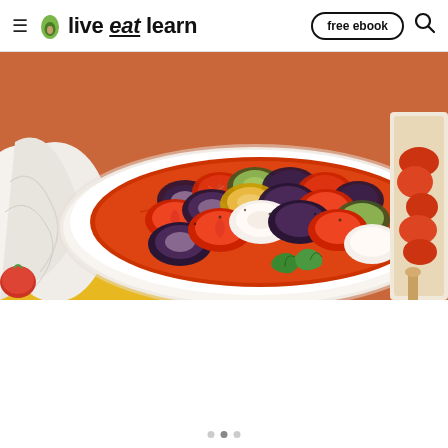live eat learn — free ebook
[Figure (photo): Overhead view of a ratatouille dish in a white baking dish on a yellow surface, showing thinly sliced rounds of eggplant, tomato, and zucchini arranged in overlapping spirals with tomato sauce, garnished with fresh basil leaves. A white cloth and a tomato are visible to the left.]